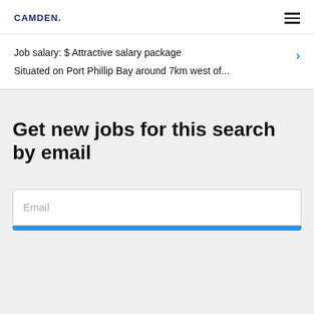CAMDEN.
Job salary: $ Attractive salary package
Situated on Port Phillip Bay around 7km west of...
Get new jobs for this search by email
Email